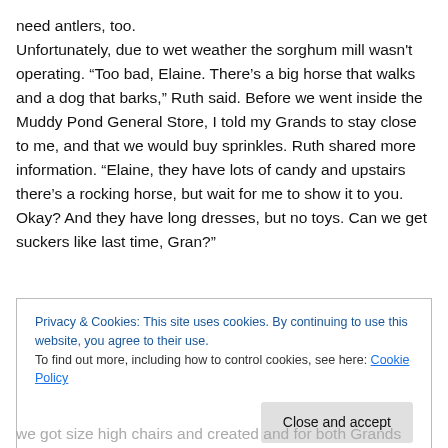need antlers, too. Unfortunately, due to wet weather the sorghum mill wasn't operating. “Too bad, Elaine. There’s a big horse that walks and a dog that barks,” Ruth said. Before we went inside the Muddy Pond General Store, I told my Grands to stay close to me, and that we would buy sprinkles. Ruth shared more information. “Elaine, they have lots of candy and upstairs there’s a rocking horse, but wait for me to show it to you. Okay? And they have long dresses, but no toys. Can we get suckers like last time, Gran?”
Privacy & Cookies: This site uses cookies. By continuing to use this website, you agree to their use. To find out more, including how to control cookies, see here: Cookie Policy
we got size high chairs and created and for both Grands